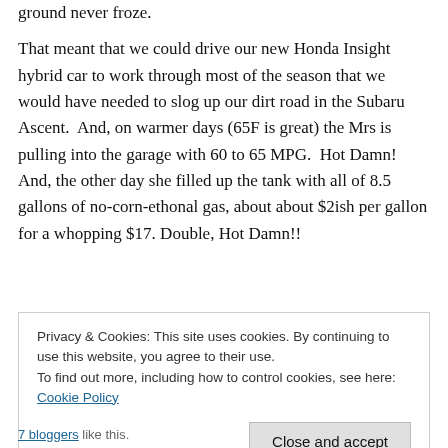ground never froze.
That meant that we could drive our new Honda Insight hybrid car to work through most of the season that we would have needed to slog up our dirt road in the Subaru Ascent.  And, on warmer days (65F is great) the Mrs is pulling into the garage with 60 to 65 MPG.  Hot Damn!  And, the other day she filled up the tank with all of 8.5 gallons of no-corn-ethonal gas, about about $2ish per gallon for a whopping $17. Double, Hot Damn!!
Privacy & Cookies: This site uses cookies. By continuing to use this website, you agree to their use.
To find out more, including how to control cookies, see here: Cookie Policy
Close and accept
7 bloggers like this.